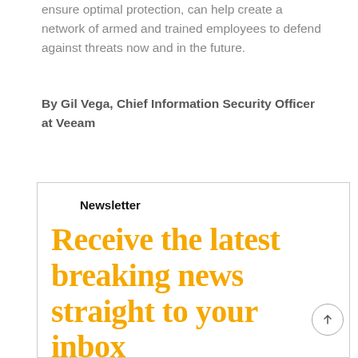ensure optimal protection, can help create a network of armed and trained employees to defend against threats now and in the future.
By Gil Vega, Chief Information Security Officer at Veeam
Newsletter
Receive the latest breaking news straight to your inbox